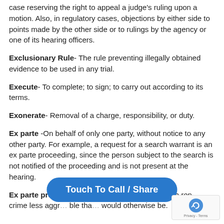case reserving the right to appeal a judge's ruling upon a motion. Also, in regulatory cases, objections by either side to points made by the other side or to rulings by the agency or one of its hearing officers.
Exclusionary Rule- The rule preventing illegally obtained evidence to be used in any trial.
Execute- To complete; to sign; to carry out according to its terms.
Exonerate- Removal of a charge, responsibility, or duty.
Ex parte -On behalf of only one party, without notice to any other party. For example, a request for a search warrant is an ex parte proceeding, since the person subject to the search is not notified of the proceeding and is not present at the hearing.
Ex parte proceeding- Action Circumstances which ren... crime less aggr... ble than... would otherwise be.